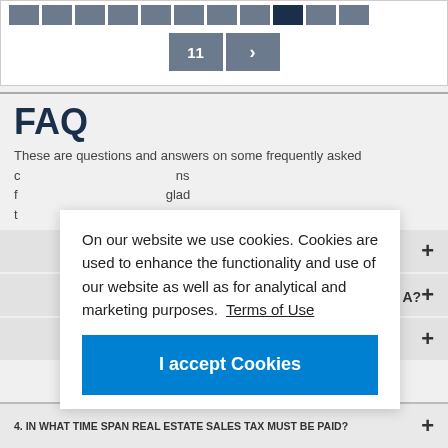[Figure (screenshot): Pagination row with multiple gray page buttons, with one dark button visible]
11 >
FAQ
These are questions and answers on some frequently asked questions from...
On our website we use cookies. Cookies are used to enhance the functionality and use of our website as well as for analytical and marketing purposes. Terms of Use
I accept Cookies
+ (FAQ item 1)
A? + (FAQ item 2)
+ (FAQ item 3)
4. IN WHAT TIME SPAN REAL ESTATE SALES TAX MUST BE PAID? +